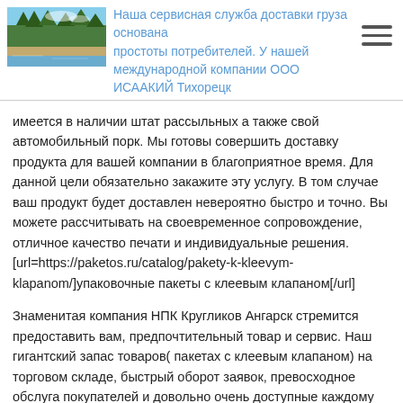[Figure (photo): Landscape photo of a lake with trees and sandy shore]
Наша сервисная служба доставки груза основана простоты потребителей. У нашей международной компании ООО ИСААКИЙ Тихорецк
имеется в наличии штат рассыльных а также свой автомобильный порк. Мы готовы совершить доставку продукта для вашей компании в благоприятное время. Для данной цели обязательно закажите эту услугу. В том случае ваш продукт будет доставлен невероятно быстро и точно. Вы можете рассчитывать на своевременное сопровождение, отличное качество печати и индивидуальные решения.
[url=https://paketos.ru/catalog/pakety-k-kleevym-klapanom/]упаковочные пакеты с клеевым клапаном[/url]
Знаменитая компания НПК Кругликов Ангарск стремится предоставить вам, предпочтительный товар и сервис. Наш гигантский запас товаров( пакетах с клеевым клапаном) на торговом складе, быстрый оборот заявок, превосходное обслуга покупателей и довольно очень доступные каждому покупателю стоимость товара дает возможность купить оберточной бумаги всем. Производственная компания